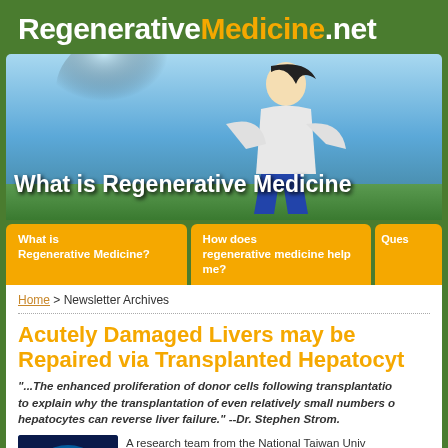RegenerativeMedicine.net
[Figure (photo): Banner image showing a woman with arms outstretched against a blue sky, with text overlay 'What is Regenerative Medicine']
What is Regenerative Medicine?
How does regenerative medicine help me?
Ques
Home > Newsletter Archives
Acutely Damaged Livers may be Repaired via Transplanted Hepatocyt
"...The enhanced proliferation of donor cells following transplantation to explain why the transplantation of even relatively small numbers of hepatocytes can reverse liver failure." --Dr. Stephen Strom.
[Figure (illustration): Medical illustration showing internal organs/torso in blue tones]
A research team from the National Taiwan University Hospital has evaluated the efficiency of transplanted hepatocytes can